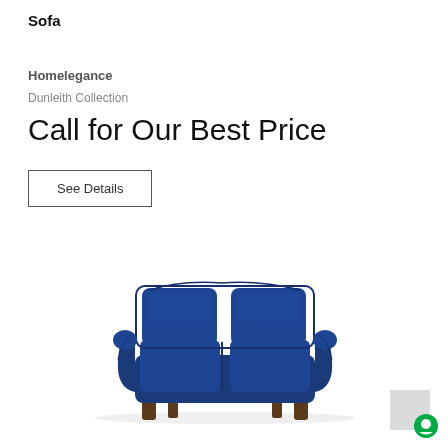Sofa
Homelegance
Dunleith Collection
Call for Our Best Price
See Details
[Figure (photo): A navy blue fabric loveseat/sofa with cushioned back and seat, curved arms, and dark wooden legs, shown on white background.]